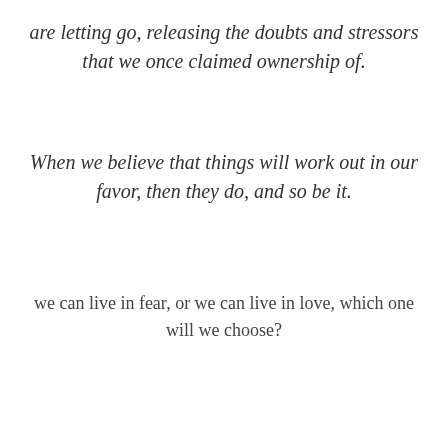are letting go, releasing the doubts and stressors that we once claimed ownership of.
When we believe that things will work out in our favor, then they do, and so be it.
we can live in fear, or we can live in love, which one will we choose?